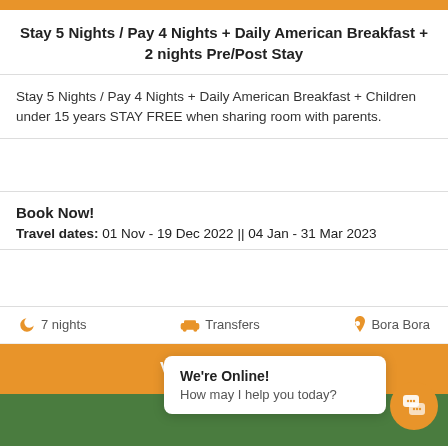Stay 5 Nights / Pay 4 Nights + Daily American Breakfast + 2 nights Pre/Post Stay
Stay 5 Nights / Pay 4 Nights + Daily American Breakfast + Children under 15 years STAY FREE when sharing room with parents.
Book Now!
Travel dates: 01 Nov - 19 Dec 2022 || 04 Jan - 31 Mar 2023
7 nights   Transfers   Bora Bora
VIEW OFFERS
We're Online!
How may I help you today?